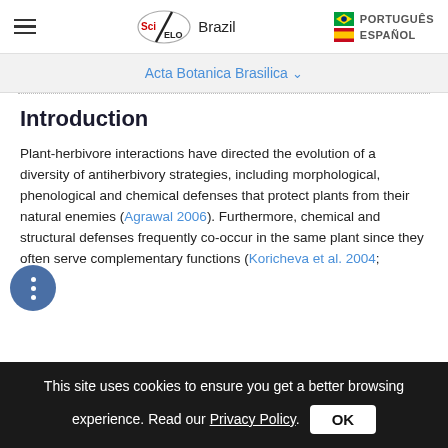SciELO Brazil | PORTUGUÊS | ESPAÑOL
Acta Botanica Brasilica
Introduction
Plant-herbivore interactions have directed the evolution of a diversity of antiherbivory strategies, including morphological, phenological and chemical defenses that protect plants from their natural enemies (Agrawal 2006). Furthermore, chemical and structural defenses frequently co-occur in the same plant since they often serve complementary functions (Koricheva et al. 2004;
This site uses cookies to ensure you get a better browsing experience. Read our Privacy Policy. OK